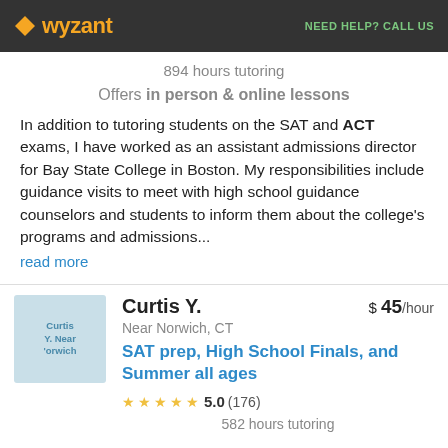wyzant  NEED HELP? CALL US
894 hours tutoring
Offers in person & online lessons
In addition to tutoring students on the SAT and ACT exams, I have worked as an assistant admissions director for Bay State College in Boston. My responsibilities include guidance visits to meet with high school guidance counselors and students to inform them about the college's programs and admissions... read more
Curtis Y.  $ 45/hour
Near Norwich, CT
SAT prep, High School Finals, and Summer all ages
5.0 (176)
582 hours tutoring